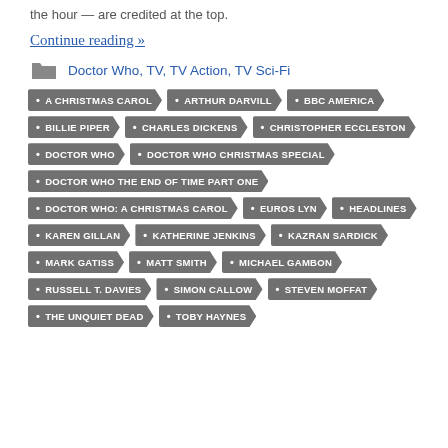the hour — are credited at the top.
Continue reading »
Doctor Who, TV, TV Action, TV Sci-Fi
A CHRISTMAS CAROL
ARTHUR DARVILL
BBC AMERICA
BILLIE PIPER
CHARLES DICKENS
CHRISTOPHER ECCLESTON
DOCTOR WHO
DOCTOR WHO CHRISTMAS SPECIAL
DOCTOR WHO THE END OF TIME PART ONE
DOCTOR WHO: A CHRISTMAS CAROL
EUROS LYN
HEADLINES
KAREN GILLAN
KATHERINE JENKINS
KAZRAN SARDICK
MARK GATISS
MATT SMITH
MICHAEL GAMBON
RUSSELL T. DAVIES
SIMON CALLOW
STEVEN MOFFAT
THE UNQUIET DEAD
TOBY HAYNES